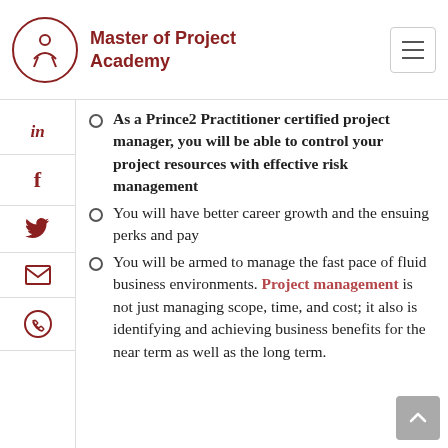Master of Project Academy
As a Prince2 Practitioner certified project manager, you will be able to control your project resources with effective risk management
You will have better career growth and the ensuing perks and pay
You will be armed to manage the fast pace of fluid business environments. Project management is not just managing scope, time, and cost; it also is identifying and achieving business benefits for the near term as well as the long term.